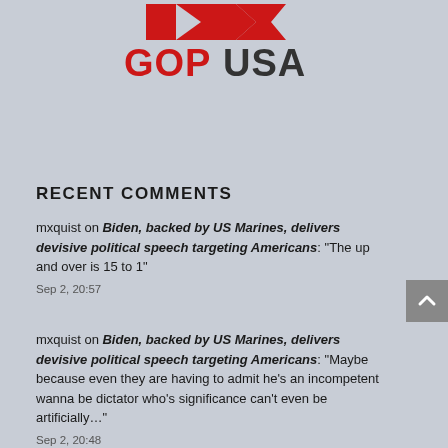[Figure (logo): GOPUSA logo with red arrow/flag shape above bold red and dark text 'GOPUSA']
RECENT COMMENTS
mxquist on Biden, backed by US Marines, delivers devisive political speech targeting Americans: “The up and over is 15 to 1”
Sep 2, 20:57
mxquist on Biden, backed by US Marines, delivers devisive political speech targeting Americans: “Maybe because even they are having to admit he’s an incompetent wanna be dictator who’s significance can’t even be artificially…”
Sep 2, 20:48